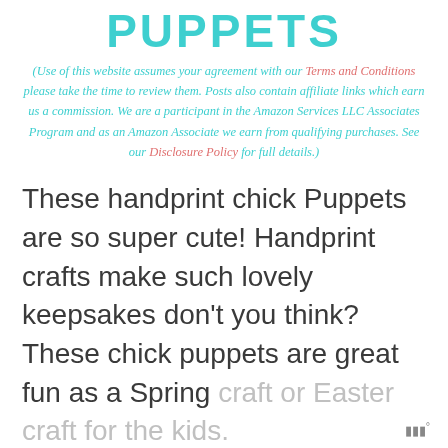PUPPETS
(Use of this website assumes your agreement with our Terms and Conditions please take the time to review them. Posts also contain affiliate links which earn us a commission. We are a participant in the Amazon Services LLC Associates Program and as an Amazon Associate we earn from qualifying purchases. See our Disclosure Policy for full details.)
These handprint chick Puppets are so super cute! Handprint crafts make such lovely keepsakes don’t you think? These chick puppets are great fun as a Spring craft or Easter craft for the kids.